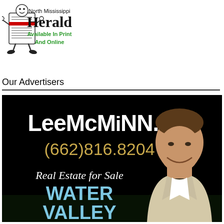[Figure (logo): North Mississippi Herald newspaper logo with cartoon newspaper mascot character. Text reads 'North Mississippi Herald — Available In Print And Online' in green.]
Our Advertisers
[Figure (photo): Advertisement for LeeMcMinn.com — black background with white text 'LeeMcMINN.coM', gold/yellow text '(662)816.8204', white italic text 'Real Estate for Sale', large light blue text 'WATER VALLEY', and a photo of a smiling man in a suit on the right side.]